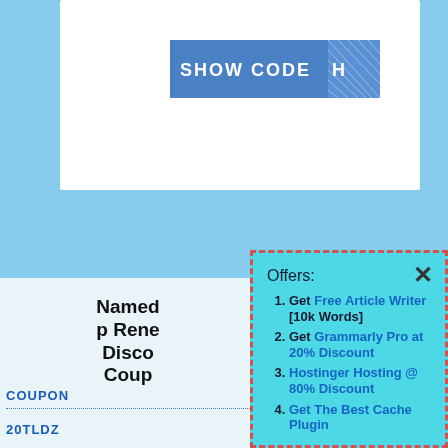[Figure (screenshot): Show Code button on light blue background with white card]
Named p Renewal Discount Coupon
COUPON
20TLDZ
Offers:
Get Free Article Writer [10k Words]
Get Grammarly Pro at 20% Discount
Hostinger Hosting @ 80% Discount
Get The Best Cache Plugin